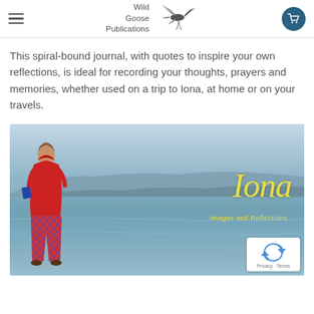Wild Goose Publications
This spiral-bound journal, with quotes to inspire your own reflections, is ideal for recording your thoughts, prayers and memories, whether used on a trip to Iona, at home or on your travels.
[Figure (photo): Book cover photo showing a young boy in a red hoodie and red/blue checked trousers standing at the edge of the sea looking out at the water and mountains, with the title 'Iona – Images and Reflections' overlaid in yellow italic script.]